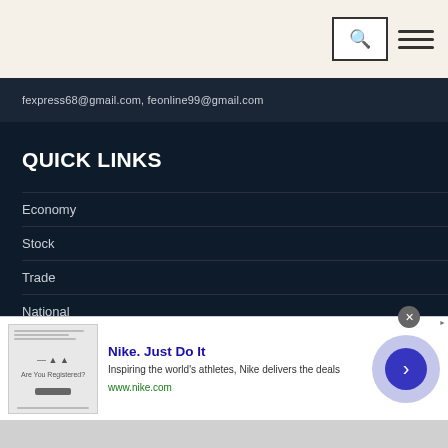fexpress68@gmail.com, feonline99@gmail.com
QUICK LINKS
Economy
Stock
Trade
National
World
Editorial
[Figure (screenshot): Advertisement banner for Nike. Just Do It — showing a thumbnail image on the left, ad copy text in the center, and a blue arrow circle button on the right. Includes a close (X) button and an ads badge.]